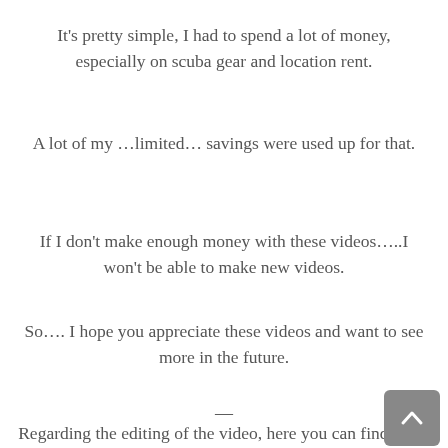It’s pretty simple, I had to spend a lot of money, especially on scuba gear and location rent.
A lot of my …limited… savings were used up for that.
If I don’t make enough money with these videos…..I won’t be able to make new videos.
So…. I hope you appreciate these videos and want to see more in the future.
—
Regarding the editing of the video, here you can find some more info: